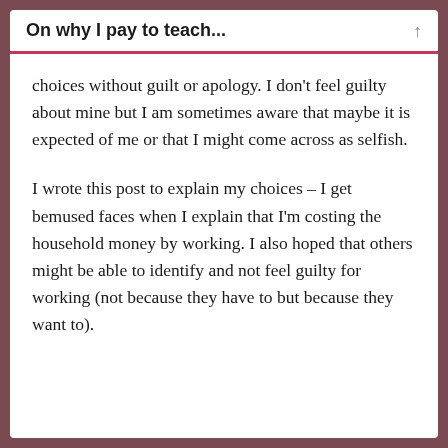On why I pay to teach...
choices without guilt or apology. I don't feel guilty about mine but I am sometimes aware that maybe it is expected of me or that I might come across as selfish.
I wrote this post to explain my choices – I get bemused faces when I explain that I'm costing the household money by working. I also hoped that others might be able to identify and not feel guilty for working (not because they have to but because they want to).